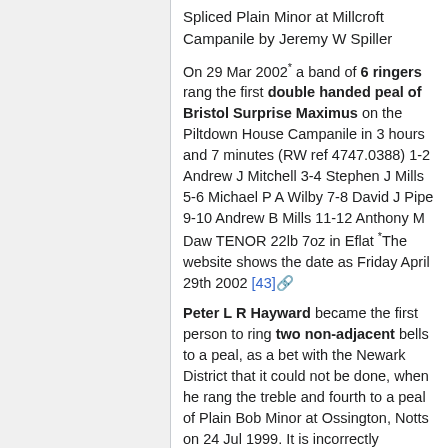Spliced Plain Minor at Millcroft Campanile by Jeremy W Spiller
On 29 Mar 2002* a band of 6 ringers rang the first double handed peal of Bristol Surprise Maximus on the Piltdown House Campanile in 3 hours and 7 minutes (RW ref 4747.0388) 1-2 Andrew J Mitchell 3-4 Stephen J Mills 5-6 Michael P A Wilby 7-8 David J Pipe 9-10 Andrew B Mills 11-12 Anthony M Daw TENOR 22lb 7oz in Eflat *The website shows the date as Friday April 29th 2002 [43]
Peter L R Hayward became the first person to ring two non-adjacent bells to a peal, as a bet with the Newark District that it could not be done, when he rang the treble and fourth to a peal of Plain Bob Minor at Ossington, Notts on 24 Jul 1999. It is incorrectly recorded on p713